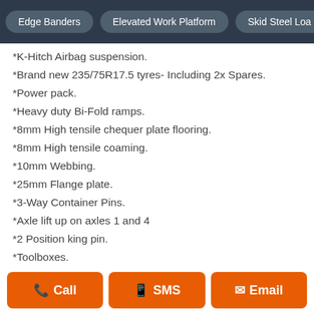Edge Banders | Elevated Work Platform | Skid Steel Loa...
*K-Hitch Airbag suspension.
*Brand new 235/75R17.5 tyres- Including 2x Spares.
*Power pack.
*Heavy duty Bi-Fold ramps.
*8mm High tensile chequer plate flooring.
*8mm High tensile coaming.
*10mm Webbing.
*25mm Flange plate.
*3-Way Container Pins.
*Axle lift up on axles 1 and 4
*2 Position king pin.
*Toolboxes.
*LED Lighting.
*JOST brand landing legs.
*Spare tyre arm- Includes 2x spares.
*All rear signage including *OVERSIZED*
*Two-Pac paint finish- Custom colours- all painted in with...
Call | SMS | Email